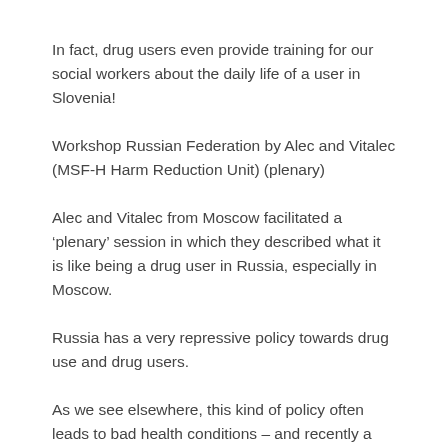In fact, drug users even provide training for our social workers about the daily life of a user in Slovenia!
Workshop Russian Federation by Alec and Vitalec (MSF-H Harm Reduction Unit) (plenary)
Alec and Vitalec from Moscow facilitated a ‘plenary’ session in which they described what it is like being a drug user in Russia, especially in Moscow.
Russia has a very repressive policy towards drug use and drug users.
As we see elsewhere, this kind of policy often leads to bad health conditions – and recently a serious HIB epidemic broke out.